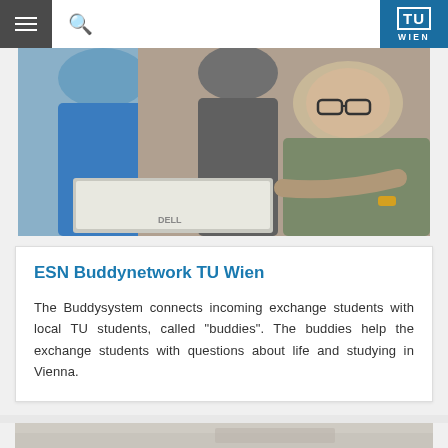TU Wien
[Figure (photo): Students looking at a laptop screen together; a young man with glasses leans in from the right]
ESN Buddynetwork TU Wien
The Buddysystem connects incoming exchange students with local TU students, called "buddies". The buddies help the exchange students with questions about life and studying in Vienna.
[Figure (photo): Blurred/out-of-focus image, partially visible at bottom of page]